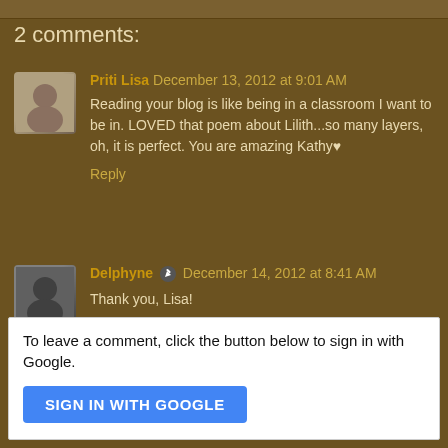2 comments:
Priti Lisa December 13, 2012 at 9:01 AM
Reading your blog is like being in a classroom I want to be in. LOVED that poem about Lilith...so many layers, oh, it is perfect. You are amazing Kathy♥
Reply
Delphyne December 14, 2012 at 8:41 AM
Thank you, Lisa!
Reply
To leave a comment, click the button below to sign in with Google.
SIGN IN WITH GOOGLE